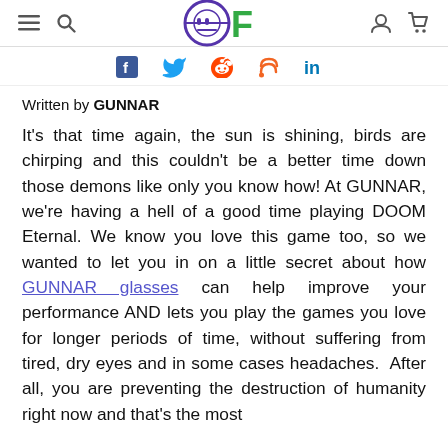GUNNAR Optiks website header with navigation icons and logo
[Figure (other): Social sharing icons: Facebook, Twitter, Reddit, RSS, LinkedIn]
Written by GUNNAR
It’s that time again, the sun is shining, birds are chirping and this couldn’t be a better time down those demons like only you know how! At GUNNAR, we’re having a hell of a good time playing DOOM Eternal. We know you love this game too, so we wanted to let you in on a little secret about how GUNNAR glasses can help improve your performance AND lets you play the games you love for longer periods of time, without suffering from tired, dry eyes and in some cases headaches.  After all, you are preventing the destruction of humanity right now and that’s the most